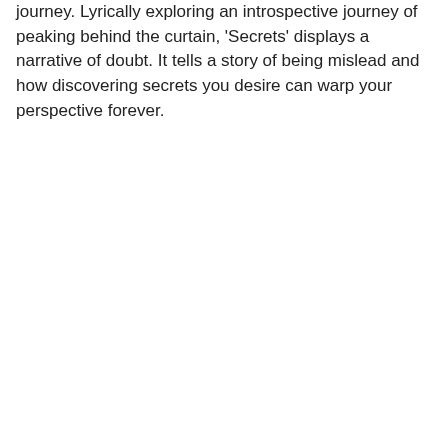journey. Lyrically exploring an introspective journey of peaking behind the curtain, 'Secrets' displays a narrative of doubt. It tells a story of being mislead and how discovering secrets you desire can warp your perspective forever.